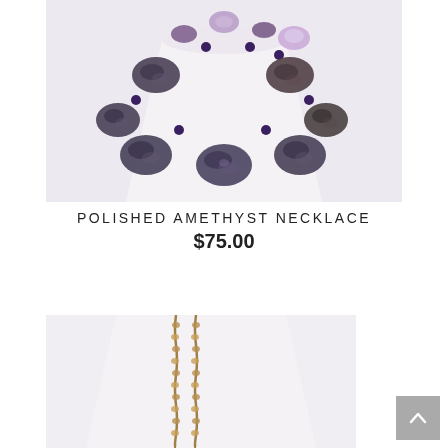[Figure (photo): Polished amethyst bead necklace displayed on a white necklace bust/stand. Large dark purple and grey oval beads connected by small blue/purple beads forming a necklace shape.]
POLISHED AMETHYST NECKLACE
$75.00
[Figure (photo): Partial view of a second jewelry item — appears to be a gold/bronze chain necklace displayed on a white stand, partially visible at the bottom of the page.]